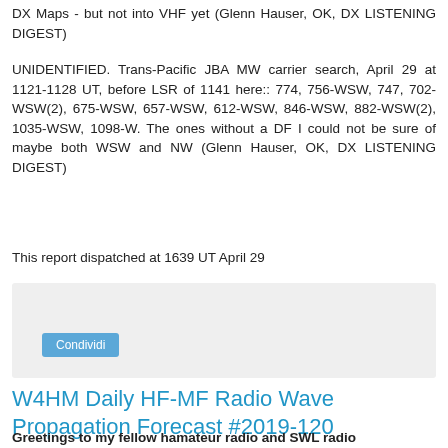DX Maps - but not into VHF yet (Glenn Hauser, OK, DX LISTENING DIGEST)
UNIDENTIFIED. Trans-Pacific JBA MW carrier search, April 29 at 1121-1128 UT, before LSR of 1141 here:: 774, 756-WSW, 747, 702-WSW(2), 675-WSW, 657-WSW, 612-WSW, 846-WSW, 882-WSW(2), 1035-WSW, 1098-W. The ones without a DF I could not be sure of maybe both WSW and NW (Glenn Hauser, OK, DX LISTENING DIGEST)
This report dispatched at 1639 UT April 29
[Figure (other): Social share widget box with a 'Condividi' button]
W4HM Daily HF-MF Radio Wave Propagation Forecast #2019-120
Greetings to my fellow hamateur radio and SWL radio